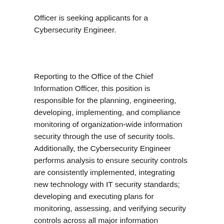Officer is seeking applicants for a Cybersecurity Engineer.
Reporting to the Office of the Chief Information Officer, this position is responsible for the planning, engineering, developing, implementing, and compliance monitoring of organization-wide information security through the use of security tools. Additionally, the Cybersecurity Engineer performs analysis to ensure security controls are consistently implemented, integrating new technology with IT security standards; developing and executing plans for monitoring, assessing, and verifying security controls across all major information systems; and developing, evaluating, and exercising IT survivability and contingency plans to protect the University's information assets. This role will be responsible for the maintenance and management of campus firewalls and VPN, tuning IPS/IDS security appliances, and network/security-related troubleshooting. Other cybersecurity duties may be assigned as needed.